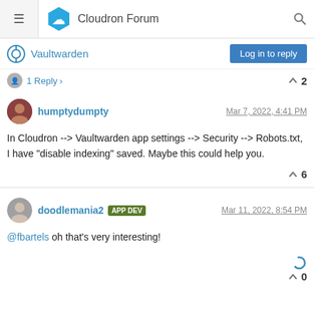Cloudron Forum
Vaultwarden
1 Reply > ^ 2
humptydumpty   Mar 7, 2022, 4:41 PM
In Cloudron --> Vaultwarden app settings --> Security --> Robots.txt, I have "disable indexing" saved. Maybe this could help you.
^ 6
doodlemania2 APP DEV   Mar 11, 2022, 8:54 PM
@fbartels oh that's very interesting!